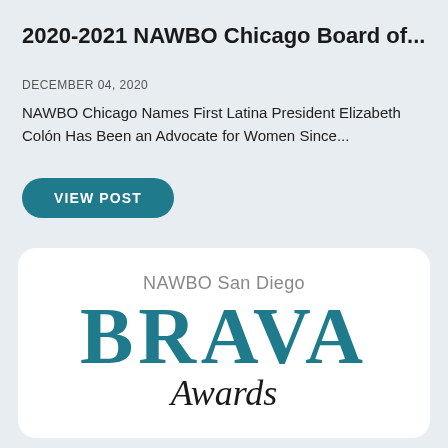2020-2021 NAWBO Chicago Board of...
DECEMBER 04, 2020
NAWBO Chicago Names First Latina President Elizabeth Colón Has Been an Advocate for Women Since...
VIEW POST
[Figure (logo): NAWBO San Diego BRAVA Awards logo on white rounded card. Text reads 'NAWBO San Diego' in gray above large teal 'BRAVA' lettering, with italic 'Awards' script below.]